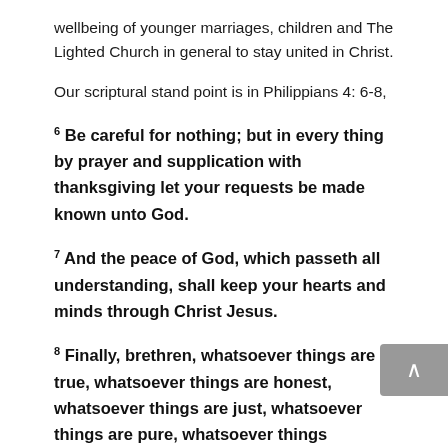wellbeing of younger marriages, children and The Lighted Church in general to stay united in Christ.
Our scriptural stand point is in Philippians 4: 6-8,
6 Be careful for nothing; but in every thing by prayer and supplication with thanksgiving let your requests be made known unto God.
7 And the peace of God, which passeth all understanding, shall keep your hearts and minds through Christ Jesus.
8 Finally, brethren, whatsoever things are true, whatsoever things are honest, whatsoever things are just, whatsoever things are pure, whatsoever things